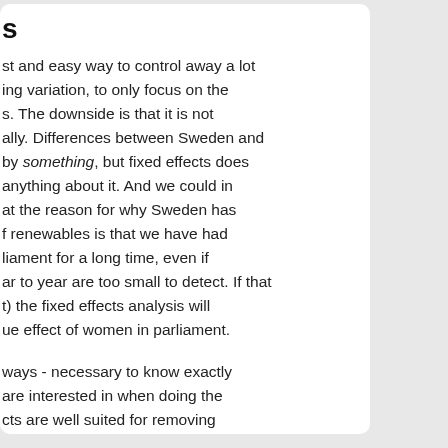s
st and easy way to control away a lot ing variation, to only focus on the s. The downside is that it is not ally. Differences between Sweden and by something, but fixed effects does anything about it. And we could in at the reason for why Sweden has f renewables is that we have had liament for a long time, even if ar to year are too small to detect. If that t) the fixed effects analysis will ue effect of women in parliament.
ways - necessary to know exactly are interested in when doing the cts are well suited for removing nits, focusing on variation over time, at is often desirable when we want to but not always.